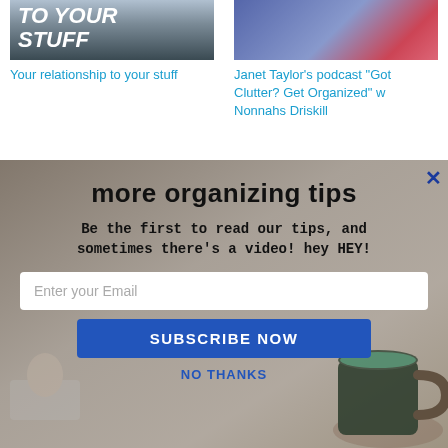[Figure (photo): Book/article card with text 'TO YOUR STUFF' overlaid on dark image]
Your relationship to your stuff
[Figure (photo): Book cover image for Janet Taylor's podcast featuring two people]
Janet Taylor’s podcast “Got Clutter? Get Organized” w Nonnahs Driskill
[Figure (screenshot): Newsletter signup modal overlay with blurred coffee mug background, title 'more organizing tips', subtitle text, email input, subscribe button, and no thanks link]
more organizing tips
Be the first to read our tips, and sometimes there’s a video! hey HEY!
Enter your Email
SUBSCRIBE NOW
NO THANKS